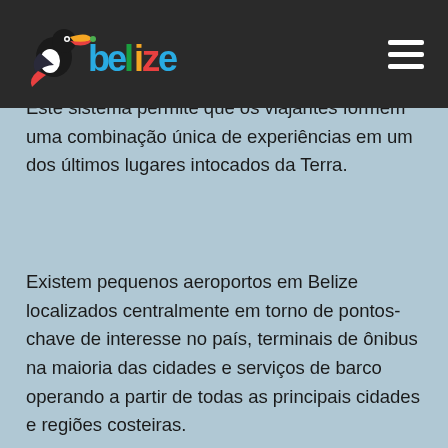belize
Para um país pequeno, temos um sistema rodoviário e lário bem planejado que liga todas as cidades, vilarejo e atrações do continente. Este sistema permite que os viajantes formem uma combinação única de experiências em um dos últimos lugares intocados da Terra.
Existem pequenos aeroportos em Belize localizados centralmente em torno de pontos-chave de interesse no país, terminais de ônibus na maioria das cidades e serviços de barco operando a partir de todas as principais cidades e regiões costeiras.
Viajar através de companhias aéreas locais é o meio de transporte mais rápido e mais popular de Belize, especialmente para itinerários que combinam diferentes locais no país. Os horários de voo são coordenados com a chegada e a partida de voos internacionais, para viagens e explorações ainda mais